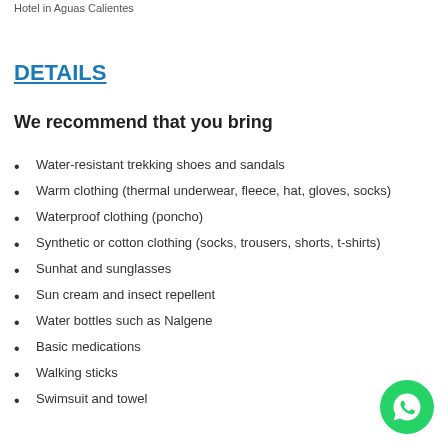Hotel in Aguas Calientes
DETAILS
We recommend that you bring
Water-resistant trekking shoes and sandals
Warm clothing (thermal underwear, fleece, hat, gloves, socks)
Waterproof clothing (poncho)
Synthetic or cotton clothing (socks, trousers, shorts, t-shirts)
Sunhat and sunglasses
Sun cream and insect repellent
Water bottles such as Nalgene
Basic medications
Walking sticks
Swimsuit and towel